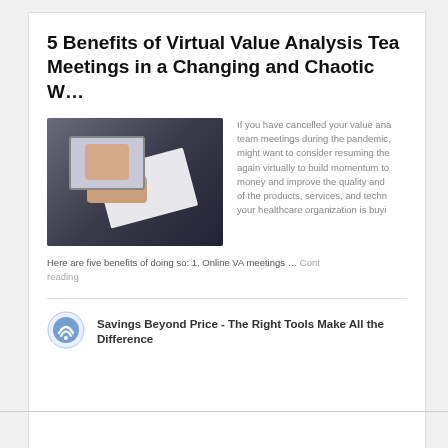5 Benefits of Virtual Value Analysis Team Meetings in a Changing and Chaotic W…
[Figure (photo): Person holding papers/documents with a tablet showing a video call in the background, on a dark desk]
If you have cancelled your value analysis team meetings during the pandemic, you might want to consider resuming them again virtually to build momentum to save money and improve the quality and safety of the products, services, and technologies your healthcare organization is buying.
Here are five benefits of doing so: 1. Online VA meetings … Continue reading
Savings Beyond Price - The Right Tools Make All the Difference